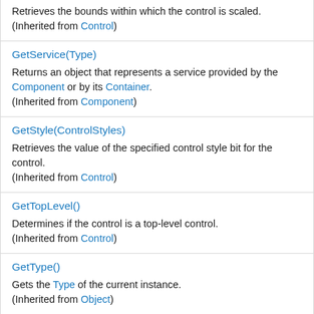Retrieves the bounds within which the control is scaled.
(Inherited from Control)
GetService(Type)
Returns an object that represents a service provided by the Component or by its Container.
(Inherited from Component)
GetStyle(ControlStyles)
Retrieves the value of the specified control style bit for the control.
(Inherited from Control)
GetTopLevel()
Determines if the control is a top-level control.
(Inherited from Control)
GetType()
Gets the Type of the current instance.
(Inherited from Object)